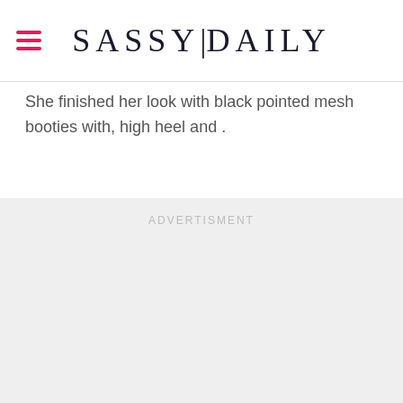SASSY|DAILY
She finished her look with black pointed mesh booties with, high heel and .
ADVERTISMENT